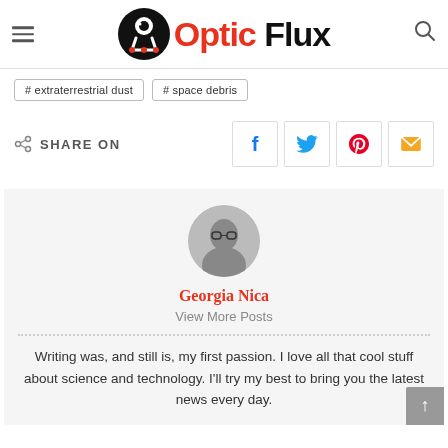Optic Flux
# extraterrestrial dust
# space debris
SHARE ON
Georgia Nica
View More Posts
Writing was, and still is, my first passion. I love all that cool stuff about science and technology. I'll try my best to bring you the latest news every day.